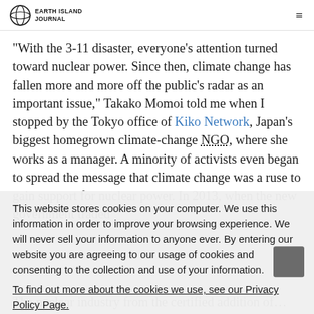Earth Island Journal
“With the 3-11 disaster, everyone’s attention turned toward nuclear power. Since then, climate change has fallen more and more off the public’s radar as an important issue,” Takako Momoi told me when I stopped by the Tokyo office of Kiko Network, Japan’s biggest homegrown climate-change NGO, where she works as a manager. A minority of activists even began to spread the message that climate change was a ruse to gain support for nuclear power. In 2013, when the new government traded
This website stores cookies on your computer. We use this information in order to improve your browsing experience. We will never sell your information to anyone ever. By entering our website you are agreeing to our usage of cookies and consenting to the collection and use of your information.
To find out more about the cookies we use, see our Privacy Policy Page.
The nuclear industry from the certified addition of...